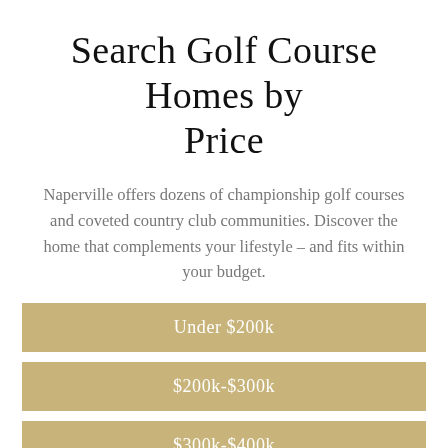Search Golf Course Homes by Price
Naperville offers dozens of championship golf courses and coveted country club communities. Discover the home that complements your lifestyle – and fits within your budget.
Under $200k
$200k-$300k
$300k-$400k
$400k-$500k